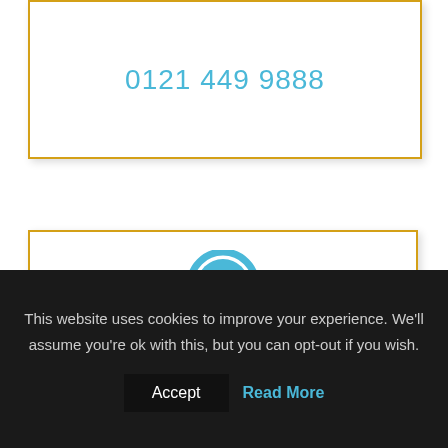0121 449 9888
[Figure (illustration): Blue circle with double closing quotation marks icon]
LEGAL 500
“An acute attention to detail and a tenacity
This website uses cookies to improve your experience. We'll assume you're ok with this, but you can opt-out if you wish.
Accept   Read More